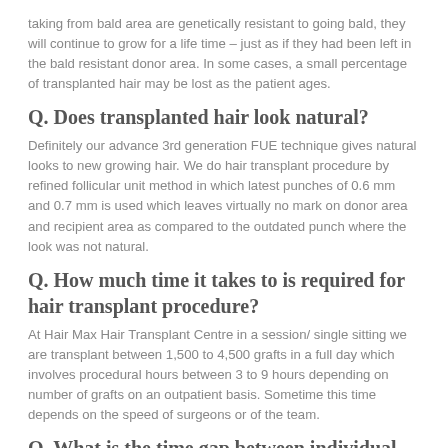taking from bald area are genetically resistant to going bald, they will continue to grow for a life time – just as if they had been left in the bald resistant donor area. In some cases, a small percentage of transplanted hair may be lost as the patient ages.
Q. Does transplanted hair look natural?
Definitely our advance 3rd generation FUE technique gives natural looks to new growing hair. We do hair transplant procedure by refined follicular unit method in which latest punches of 0.6 mm and 0.7 mm is used which leaves virtually no mark on donor area and recipient area as compared to the outdated punch where the look was not natural.
Q. How much time it takes to is required for hair transplant procedure?
At Hair Max Hair Transplant Centre in a session/ single sitting we are transplant between 1,500 to 4,500 grafts in a full day which involves procedural hours between 3 to 9 hours depending on number of grafts on an outpatient basis. Sometime this time depends on the speed of surgeons or of the team.
Q. What is the time gap between individual sittings?
FUE can be done even on consecutive days or few days or a week